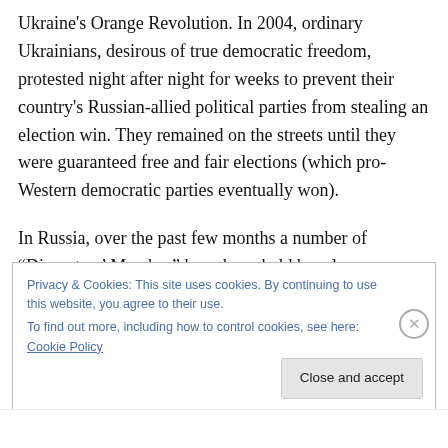Ukraine's Orange Revolution. In 2004, ordinary Ukrainians, desirous of true democratic freedom, protested night after night for weeks to prevent their country's Russian-allied political parties from stealing an election win. They remained on the streets until they were guaranteed free and fair elections (which pro-Western democratic parties eventually won).
In Russia, over the past few months a number of “Dissenters’ Marches” have been held by a loose coalition of anti-Putin parties and organizations calling themselves
Privacy & Cookies: This site uses cookies. By continuing to use this website, you agree to their use.
To find out more, including how to control cookies, see here: Cookie Policy